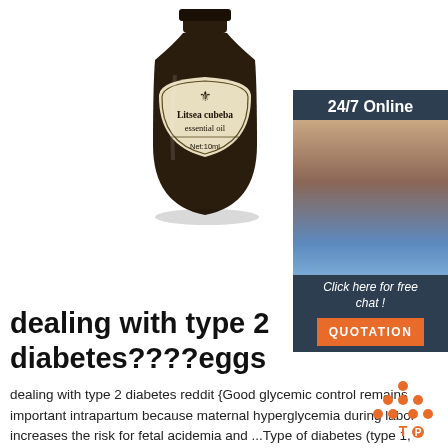[Figure (photo): A dark amber glass bottle with a cream/beige label showing a fleur-de-lis decorative symbol. Label reads 'Litsea cubeba essential oil' and 'Net:10ml'.]
[Figure (photo): A smiling woman wearing a headset, representing a customer service agent. Above her is a dark teal banner with '24/7 Online'. Below is italic text 'Click here for free chat!' and an orange button labeled 'QUOTATION'.]
dealing with type 2 diabetes????eggs
dealing with type 2 diabetes reddit {Good glycemic control remains important intrapartum because maternal hyperglycemia during labor increases the risk for fetal acidemia and ...Type of diabetes (type 1, type 2 or gestational diabetes) also has an effect on the glucose concentration during intrapartum period. During the latent phase of ...